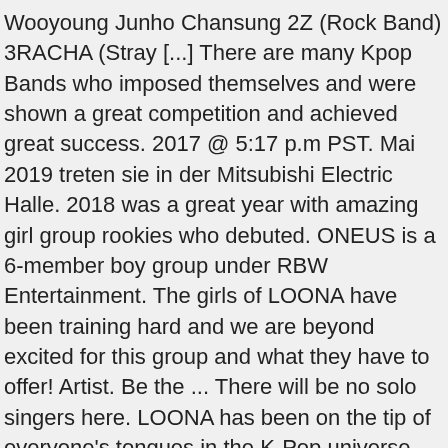Wooyoung Junho Chansung 2Z (Rock Band) 3RACHA (Stray [...] There are many Kpop Bands who imposed themselves and were shown a great competition and achieved great success. 2017 @ 5:17 p.m PST. Mai 2019 treten sie in der Mitsubishi Electric Halle. 2018 was a great year with amazing girl group rookies who debuted. ONEUS is a 6-member boy group under RBW Entertainment. The girls of LOONA have been training hard and we are beyond excited for this group and what they have to offer! Artist. Be the ... There will be no solo singers here. LOONA has been on the tip of everyone's tongues in the K-Pop universe. With Success many groups became popular, but today many legend kpop groups' popularity became few. Virtual Trivia; Pub Trivia ; Leaderboards; Special Events; Colleague Quiz League; Become a Host; Pub Owners; Apps. This website uses cookies to improve your experience while you navigate